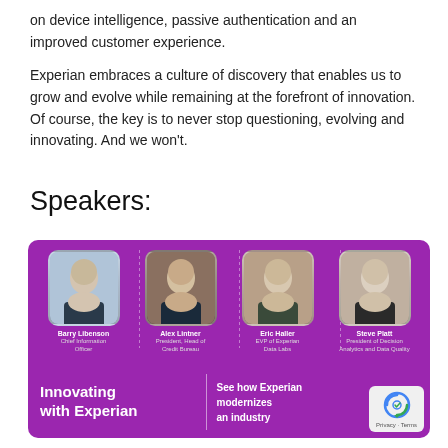on device intelligence, passive authentication and an improved customer experience.
Experian embraces a culture of discovery that enables us to grow and evolve while remaining at the forefront of innovation. Of course, the key is to never stop questioning, evolving and innovating. And we won't.
Speakers:
[Figure (photo): Purple banner showing four speakers: Barry Libenson (Chief Information Officer), Alex Lintner (President, Head of Credit Bureau), Eric Haller (EVP of Experian Data Labs), Steve Platt (President of Decision Analytics and Data Quality). Bottom text reads 'Innovating with Experian' and 'See how Experian modernizes an industry'.]